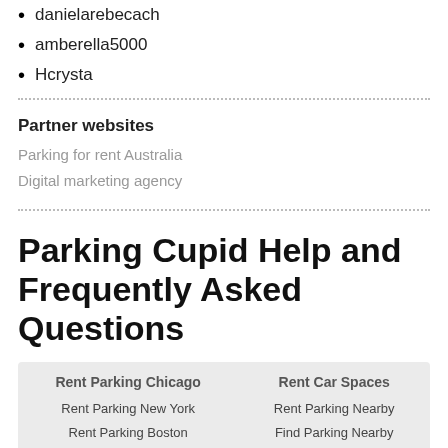danielarebecach
amberella5000
Hcrysta
Partner websites
Parking for rent Australia
Digital marketing agency
Parking Cupid Help and Frequently Asked Questions
| Rent Parking Chicago | Rent Car Spaces |
| --- | --- |
| Rent Parking New York | Rent Parking Nearby |
| Rent Parking Boston | Find Parking Nearby |
| Rent Parking San Francisco | Monthly Parking Nearby |